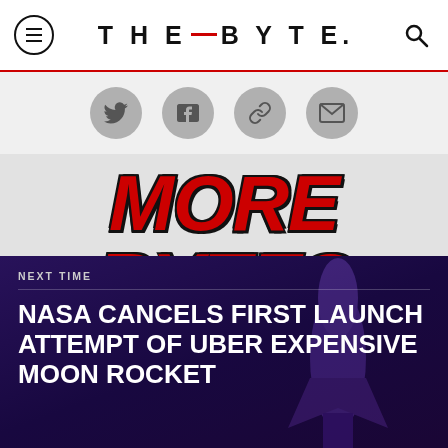THE BYTE.
[Figure (infographic): Four circular grey social media share icons in a row: Twitter/retweet, Facebook share, link/chain, and email/envelope icons]
[Figure (illustration): Large bold italic red text reading 'MORE BYTES' with black outline, overlapping a dark purple/navy background with a rocket launch article card below]
NEXT TIME
NASA CANCELS FIRST LAUNCH ATTEMPT OF UBER EXPENSIVE MOON ROCKET